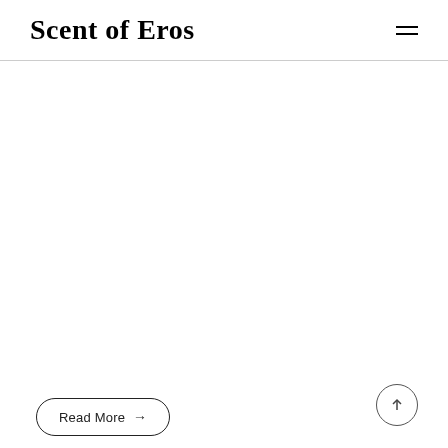Scent of Eros
[Figure (other): Large blank white content area below the navigation header]
Read More →